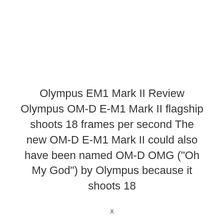Olympus EM1 Mark II Review Olympus OM-D E-M1 Mark II flagship shoots 18 frames per second The new OM-D E-M1 Mark II could also have been named OM-D OMG ("Oh My God") by Olympus because it shoots 18
x